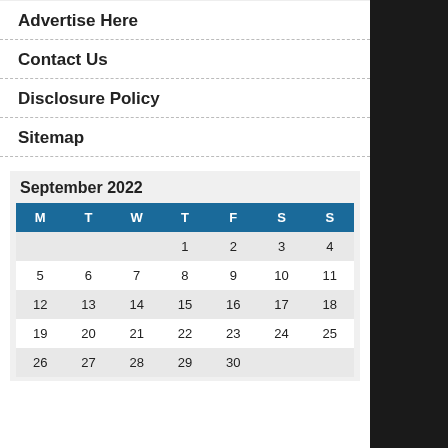Advertise Here
Contact Us
Disclosure Policy
Sitemap
September 2022
| M | T | W | T | F | S | S |
| --- | --- | --- | --- | --- | --- | --- |
|  |  |  | 1 | 2 | 3 | 4 |
| 5 | 6 | 7 | 8 | 9 | 10 | 11 |
| 12 | 13 | 14 | 15 | 16 | 17 | 18 |
| 19 | 20 | 21 | 22 | 23 | 24 | 25 |
| 26 | 27 | 28 | 29 | 30 |  |  |